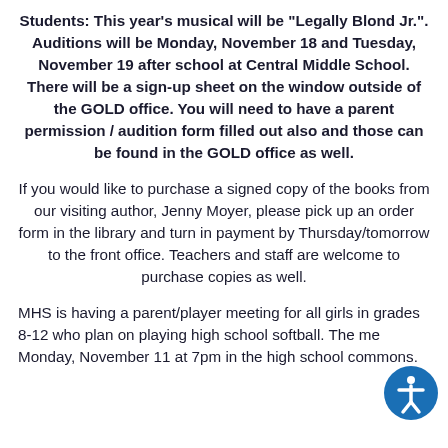Students: This year's musical will be "Legally Blond Jr.". Auditions will be Monday, November 18 and Tuesday, November 19 after school at Central Middle School. There will be a sign-up sheet on the window outside of the GOLD office. You will need to have a parent permission / audition form filled out also and those can be found in the GOLD office as well.
If you would like to purchase a signed copy of the books from our visiting author, Jenny Moyer, please pick up an order form in the library and turn in payment by Thursday/tomorrow to the front office. Teachers and staff are welcome to purchase copies as well.
MHS is having a parent/player meeting for all girls in grades 8-12 who plan on playing high school softball. The meeting is Monday, November 11 at 7pm in the high school commons.